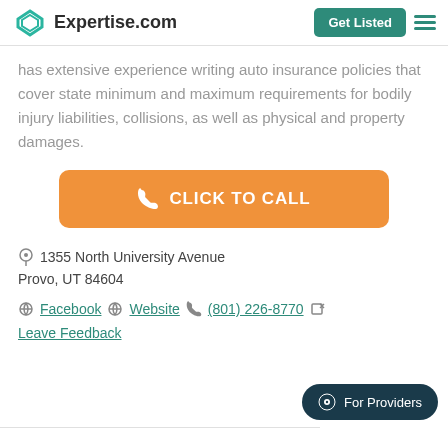Expertise.com
has extensive experience writing auto insurance policies that cover state minimum and maximum requirements for bodily injury liabilities, collisions, as well as physical and property damages.
CLICK TO CALL
1355 North University Avenue
Provo, UT 84604
Facebook  Website  (801) 226-8770
Leave Feedback
For Providers